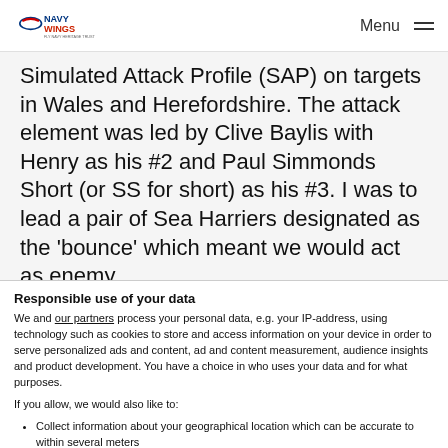NAVY WINGS | Menu
Simulated Attack Profile (SAP) on targets in Wales and Herefordshire. The attack element was led by Clive Baylis with Henry as his #2 and Paul Simmonds Short (or SS for short) as his #3. I was to lead a pair of Sea Harriers designated as the 'bounce' which meant we would act as enemy
Responsible use of your data
We and our partners process your personal data, e.g. your IP-address, using technology such as cookies to store and access information on your device in order to serve personalized ads and content, ad and content measurement, audience insights and product development. You have a choice in who uses your data and for what purposes.
If you allow, we would also like to:
Collect information about your geographical location which can be accurate to within several meters
Identify your device by actively scanning it for specific characteristics (fingerprinting)
Find out more about how your personal data is processed and set your preferences in the details section. You can change or withdraw your consent any time from the Cookie